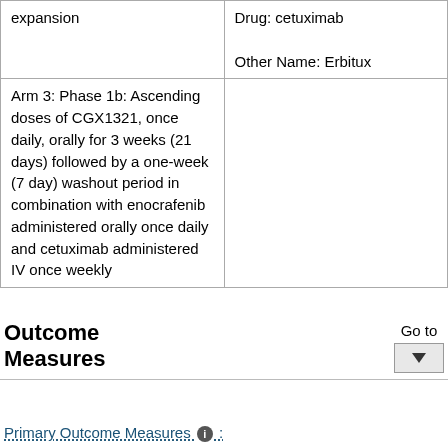| Arm/Group | Drug/Intervention |
| --- | --- |
| expansion | Drug: cetuximab
Other Name: Erbitux |
| Arm 3: Phase 1b: Ascending doses of CGX1321, once daily, orally for 3 weeks (21 days) followed by a one-week (7 day) washout period in combination with enocrafenib administered orally once daily and cetuximab administered IV once weekly | Drug: cetuximab
Other Name: Erbitux |
Outcome Measures
Go to
Primary Outcome Measures :